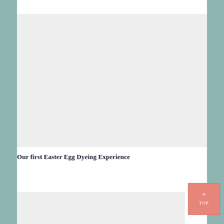[Figure (photo): Large light gray placeholder image area at the top of the page content, representing an Easter egg dyeing photo]
Our first Easter Egg Dyeing Experience
[Figure (photo): Partial light gray placeholder image at the bottom of the page, partially visible]
[Figure (other): Pink/salmon colored 'TOP' navigation button with upward arrow chevron in the bottom right corner]